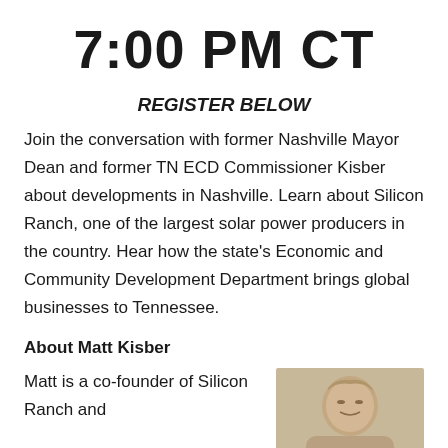7:00 PM CT
REGISTER BELOW
Join the conversation with former Nashville Mayor Dean and former TN ECD Commissioner Kisber about developments in Nashville. Learn about Silicon Ranch, one of the largest solar power producers in the country. Hear how the state's Economic and Community Development Department brings global businesses to Tennessee.
About Matt Kisber
Matt is a co-founder of Silicon Ranch and
[Figure (photo): Headshot photo of Matt Kisber]